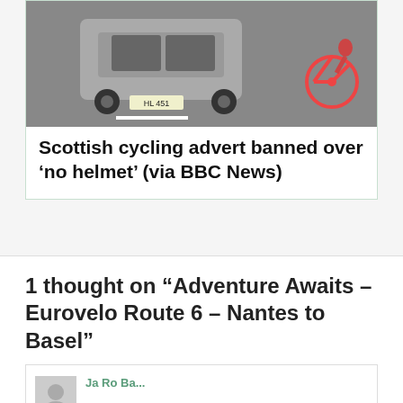[Figure (photo): A car and a bicycle on a road, partial view showing the top portion of a news article card.]
Scottish cycling advert banned over ‘no helmet’ (via BBC News)
1 thought on “Adventure Awaits – Eurovelo Route 6 – Nantes to Basel”
[Figure (photo): User avatar placeholder (grey square).]
commenter name (partial, cut off)